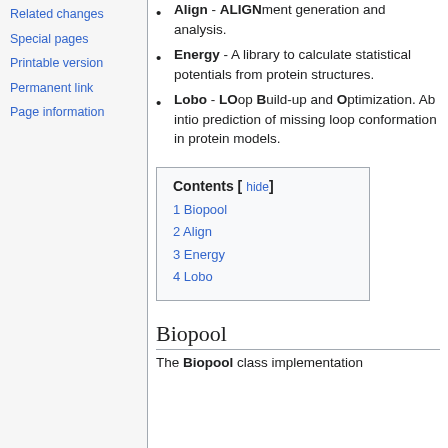Related changes
Special pages
Printable version
Permanent link
Page information
Align - ALIGNment generation and analysis.
Energy - A library to calculate statistical potentials from protein structures.
Lobo - LOop Build-up and Optimization. Ab intio prediction of missing loop conformation in protein models.
| Contents [hide] |
| --- |
| 1 Biopool |
| 2 Align |
| 3 Energy |
| 4 Lobo |
Biopool
The Biopool class implementation